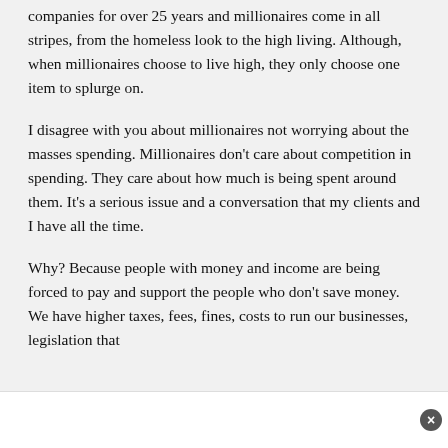companies for over 25 years and millionaires come in all stripes, from the homeless look to the high living. Although, when millionaires choose to live high, they only choose one item to splurge on.
I disagree with you about millionaires not worrying about the masses spending. Millionaires don't care about competition in spending. They care about how much is being spent around them. It's a serious issue and a conversation that my clients and I have all the time.
Why? Because people with money and income are being forced to pay and support the people who don't save money. We have higher taxes, fees, fines, costs to run our businesses, legislation that